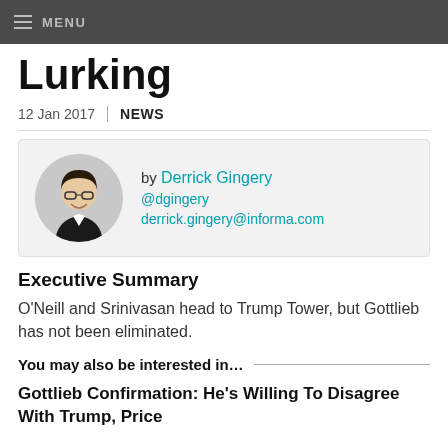MENU
Lurking
12 Jan 2017 | NEWS
[Figure (photo): Circular author headshot of Derrick Gingery, a man with dark hair and glasses wearing a dark suit, smiling]
by Derrick Gingery
@dgingery
derrick.gingery@informa.com
Executive Summary
O'Neill and Srinivasan head to Trump Tower, but Gottlieb has not been eliminated.
You may also be interested in...
Gottlieb Confirmation: He's Willing To Disagree With Trump, Price